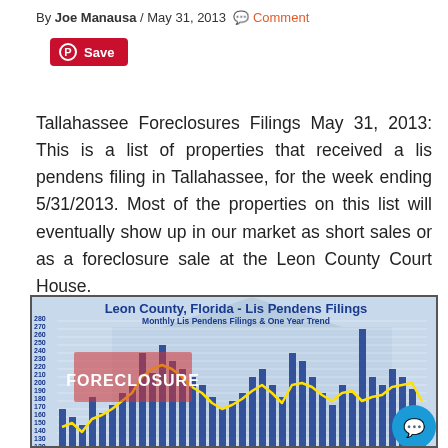By Joe Manausa / May 31, 2013 💬 Comment
[Figure (other): Pinterest Save button (red rounded rectangle with Pinterest circle icon)]
Tallahassee Foreclosures Filings May 31, 2013: This is a list of properties that received a lis pendens filing in Tallahassee, for the week ending 5/31/2013. Most of the properties on this list will eventually show up in our market as short sales or as a foreclosure sale at the Leon County Court House.
[Figure (bar-chart): Monthly Lis Pendens Filings & One Year Trend bar chart with yellow trend line, y-axis from 120 to 280, background shows foreclosure sign and house image]